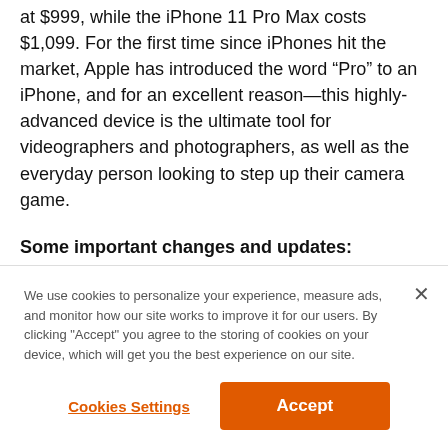at $999, while the iPhone 11 Pro Max costs $1,099. For the first time since iPhones hit the market, Apple has introduced the word “Pro” to an iPhone, and for an excellent reason—this highly-advanced device is the ultimate tool for videographers and photographers, as well as the everyday person looking to step up their camera game.
Some important changes and updates:
We use cookies to personalize your experience, measure ads, and monitor how our site works to improve it for our users. By clicking “Accept” you agree to the storing of cookies on your device, which will get you the best experience on our site.